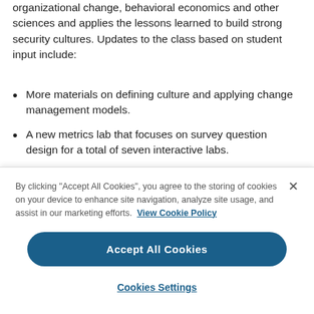organizational change, behavioral economics and other sciences and applies the lessons learned to build strong security cultures. Updates to the class based on student input include:
More materials on defining culture and applying change management models.
A new metrics lab that focuses on survey question design for a total of seven interactive labs.
A new interactive activity that...
By clicking "Accept All Cookies", you agree to the storing of cookies on your device to enhance site navigation, analyze site usage, and assist in our marketing efforts. View Cookie Policy
Accept All Cookies
Cookies Settings